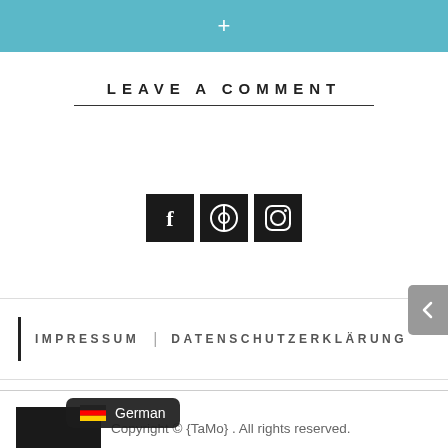+
LEAVE A COMMENT
[Figure (illustration): Three social media icon buttons (Facebook, Spotify, Instagram) with black square backgrounds and white icons]
IMPRESSUM | DATENSCHUTZERKLÄRUNG
Copyright © {TaMo} . All rights reserved.